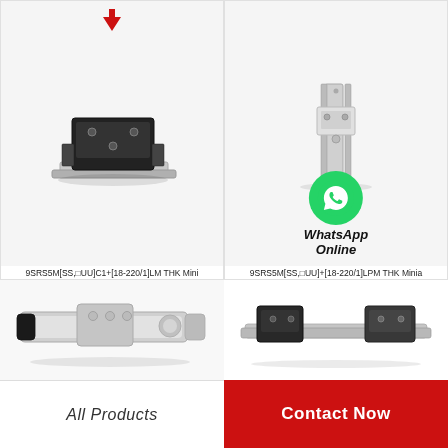[Figure (photo): THK miniature linear guide block (black) on rail, red arrow pointing down from above]
9SRS5M[SS,□UU]C1+[18-220/1]LM THK Mini
9SRS5M[SS,UU]C1+[18-220/1]LM THK Miniatur…
[Figure (photo): THK miniature linear guide block (silver) on rail, close-up]
9SRS5M[SS,□UU]+[18-220/1]LPM THK Minia
9SRS5M[SS,UU]+[18-220/1]LPM THK Miniat…
[Figure (photo): THK linear guide actuator, silver aluminum body, black square end cap]
[Figure (photo): THK linear guide rail with two black carriages, angled view; WhatsApp Online overlay]
All Products
Contact Now